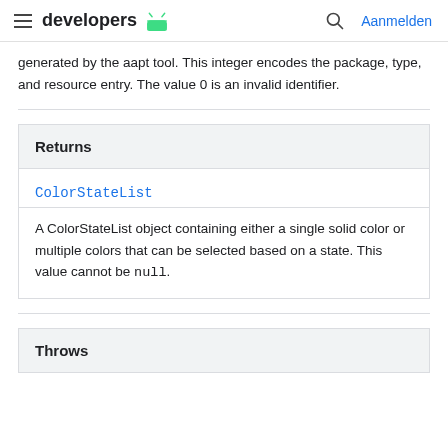developers | Aanmelden
generated by the aapt tool. This integer encodes the package, type, and resource entry. The value 0 is an invalid identifier.
| Returns |
| --- |
| ColorStateList |
| A ColorStateList object containing either a single solid color or multiple colors that can be selected based on a state. This value cannot be null. |
| Throws |
| --- |